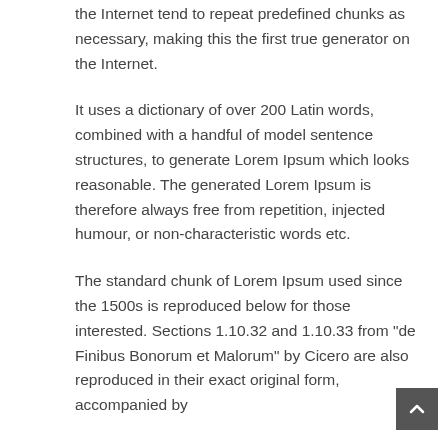the Internet tend to repeat predefined chunks as necessary, making this the first true generator on the Internet.
It uses a dictionary of over 200 Latin words, combined with a handful of model sentence structures, to generate Lorem Ipsum which looks reasonable. The generated Lorem Ipsum is therefore always free from repetition, injected humour, or non-characteristic words etc.
The standard chunk of Lorem Ipsum used since the 1500s is reproduced below for those interested. Sections 1.10.32 and 1.10.33 from "de Finibus Bonorum et Malorum" by Cicero are also reproduced in their exact original form, accompanied by